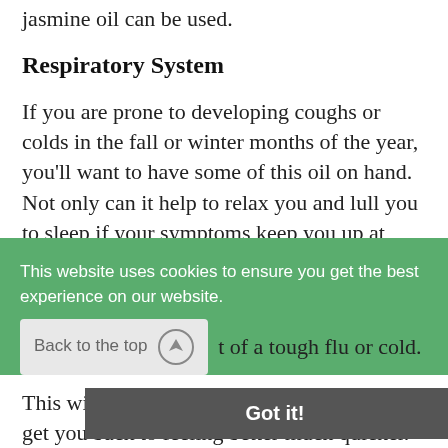jasmine oil can be used.
Respiratory System
If you are prone to developing coughs or colds in the fall or winter months of the year, you'll want to have some of this oil on hand. Not only can it help to relax you and lull you to sleep if your symptoms keep you up at night, but it can also help to fight off that infection that may have developed in your respiratory tract of a tough flu or cold.
This will help to relieve your symptoms and get you back to feeling better much quicker.
This website uses cookies to ensure you get the best experience on our website.
Back to the top
Got it!